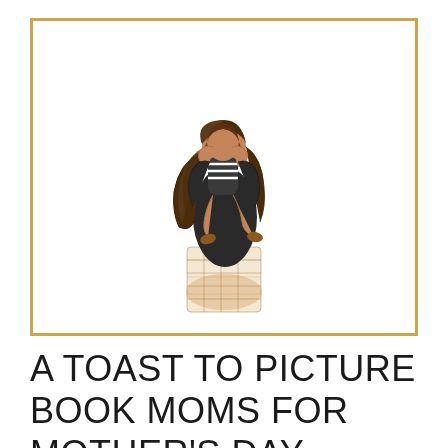[Figure (illustration): An illustration of a mother and child embracing, set inside a gold-bordered rectangular frame on white background. The mother is wearing a plaid skirt and dark top, holding a child who has long hair and is wearing a striped shirt.]
A TOAST TO PICTURE BOOK MOMS FOR MOTHER'S DAY